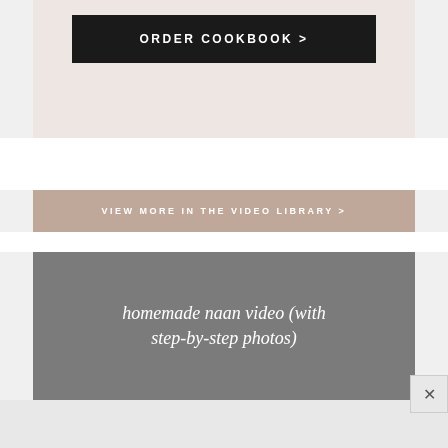[Figure (screenshot): Black button with white uppercase text reading ORDER COOKBOOK > on a pinkish-beige background]
[Figure (screenshot): Taupe/tan button with white uppercase text reading VIEW MORE IN THE VIDEO LIBRARY >]
[Figure (screenshot): Gray card with white italic serif text reading homemade naan video (with step-by-step photos)]
[Figure (screenshot): Small close button (X) in lower right corner]